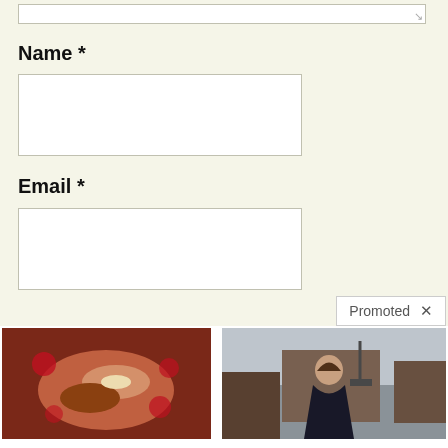[Figure (screenshot): Top portion of a text area input box with resize handle visible at bottom right]
Name *
[Figure (screenshot): Empty white text input box for Name field]
Email *
[Figure (screenshot): Empty white text input box for Email field]
Promoted X
[Figure (photo): Close-up medical image showing what appears to be an organ or tissue]
Stop Using Metformin. Here's Why
🔥 178,984
[Figure (photo): Woman in dark jacket smiling outdoors near industrial buildings]
Nancy Pelosi Wants This Video Destroyed — Watch Now Before It's Banned
🔥 162,446